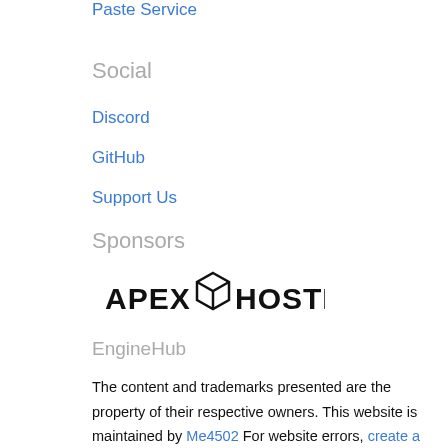Paste Service
Social
Discord
GitHub
Support Us
Sponsors
[Figure (logo): Apex Hosting logo with a 3D cube icon between APEX and HOSTING text in bold black letters]
EngineHub
The content and trademarks presented are the property of their respective owners. This website is maintained by Me4502 For website errors, create a ticket here.